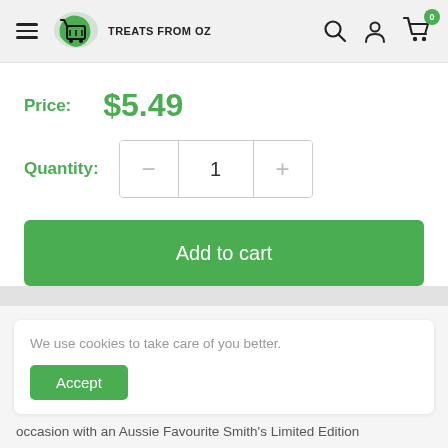Treats From Oz — navigation header with hamburger menu, logo, search, account, and cart icons
Price: $5.49
Quantity: 1
Add to cart
We use cookies to take care of you better.
Accept
occasion with an Aussie Favourite Smith's Limited Edition